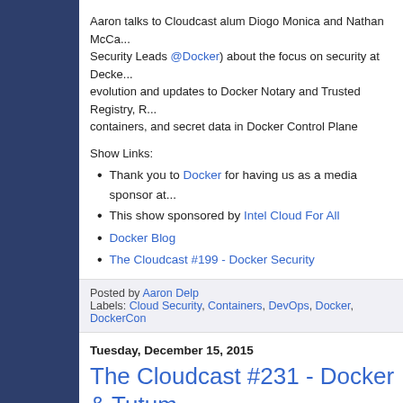Aaron talks to Cloudcast alum Diogo Monica and Nathan McCa... Security Leads @Docker) about the focus on security at Decke... evolution and updates to Docker Notary and Trusted Registry, R... containers, and secret data in Docker Control Plane
Show Links:
Thank you to Docker for having us as a media sponsor at...
This show sponsored by Intel Cloud For All
Docker Blog
The Cloudcast #199 - Docker Security
Posted by Aaron Delp
Labels: Cloud Security, Containers, DevOps, Docker, DockerCon
Tuesday, December 15, 2015
The Cloudcast #231 - Docker & Tutum
[Figure (screenshot): Podcast player thumbnail with play button and The Cloudcast branding]